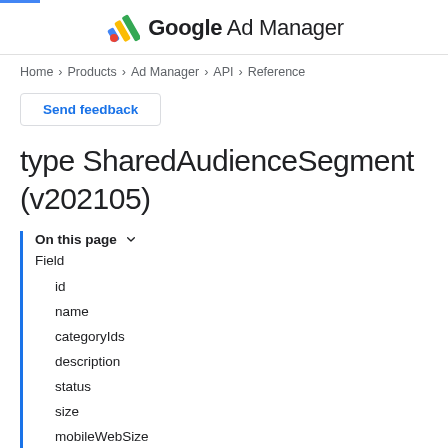Google Ad Manager
Home > Products > Ad Manager > API > Reference
Send feedback
type SharedAudienceSegment (v202105)
On this page
Field
id
name
categoryIds
description
status
size
mobileWebSize